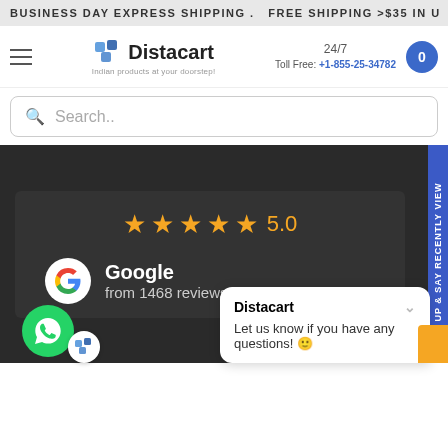BUSINESS DAY EXPRESS SHIPPING . FREE SHIPPING >$35 IN U
[Figure (logo): Distacart logo with hamburger menu, 24/7 Toll Free: +1-855-25-34782, and cart button]
24/7 Toll Free: +1-855-25-34782
Search..
[Figure (infographic): Dark background panel showing 5 gold stars rating of 5.0 and Google from 1468 reviews]
Google
from 1468 reviews
Distacart
Let us know if you have any questions! 😊